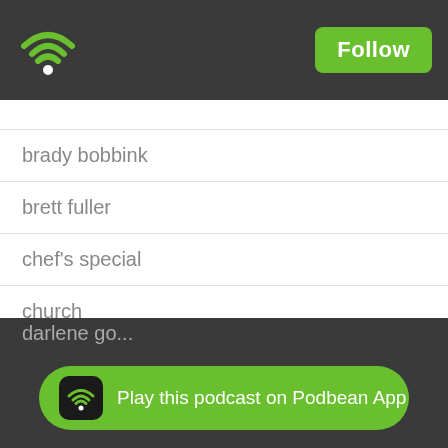Podbean App - Follow button
brady bobbink
brett fuller
chef's special
church
cindy thacker
come & see
come to the table
compassion
court durkalski
craig keener
curt harlow
darlene go...
daryl richman
Play this podcast on Podbean App